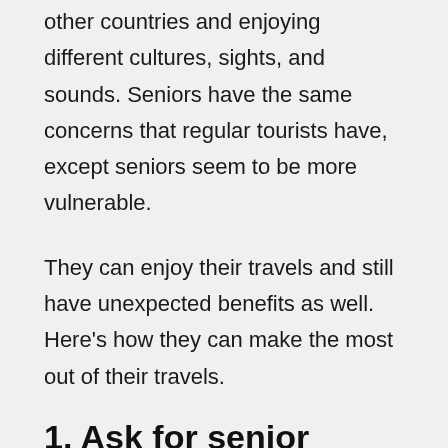other countries and enjoying different cultures, sights, and sounds. Seniors have the same concerns that regular tourists have, except seniors seem to be more vulnerable.
They can enjoy their travels and still have unexpected benefits as well. Here's how they can make the most out of their travels.
1. Ask for senior citizen discounts.
Senior citizens enjoy special discounts and privileges in almost everything and in almost every country. They are eligible for hotel discounts, travel fare deductions, restaurant discounts, and many more. Always ask for